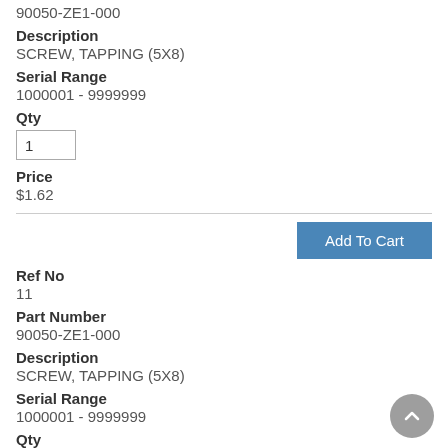90050-ZE1-000
Description
SCREW, TAPPING (5X8)
Serial Range
1000001 - 9999999
Qty
1
Price
$1.62
Add To Cart
Ref No
11
Part Number
90050-ZE1-000
Description
SCREW, TAPPING (5X8)
Serial Range
1000001 - 9999999
Qty